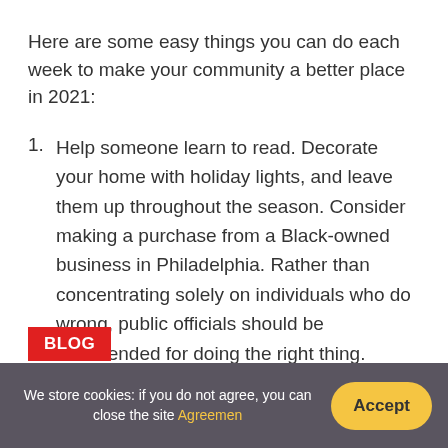Here are some easy things you can do each week to make your community a better place in 2021:
Help someone learn to read. Decorate your home with holiday lights, and leave them up throughout the season. Consider making a purchase from a Black-owned business in Philadelphia. Rather than concentrating solely on individuals who do wrong, public officials should be commended for doing the right thing.
BLOG
We store cookies: if you do not agree, you can close the site Agreemen